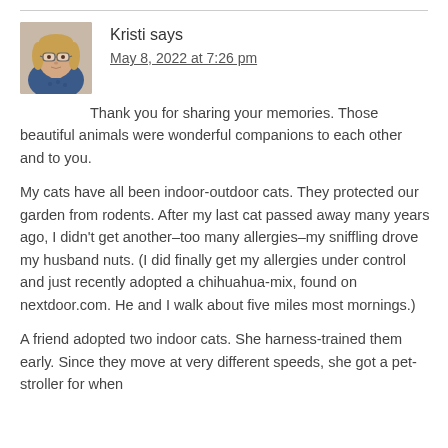[Figure (photo): Profile photo of a woman with blonde hair and glasses wearing a blue patterned top]
Kristi says
May 8, 2022 at 7:26 pm
Thank you for sharing your memories. Those beautiful animals were wonderful companions to each other and to you.

My cats have all been indoor-outdoor cats. They protected our garden from rodents. After my last cat passed away many years ago, I didn't get another–too many allergies–my sniffling drove my husband nuts. (I did finally get my allergies under control and just recently adopted a chihuahua-mix, found on nextdoor.com. He and I walk about five miles most mornings.)

A friend adopted two indoor cats. She harness-trained them early. Since they move at very different speeds, she got a pet-stroller for when